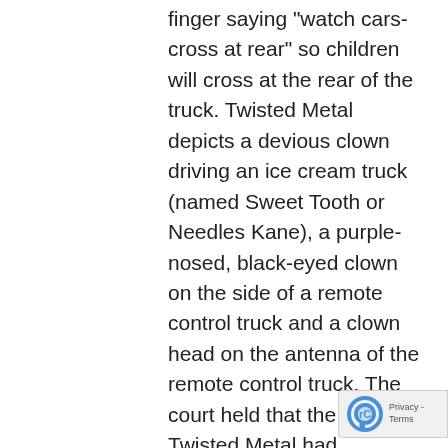finger saying "watch cars-cross at rear" so children will cross at the rear of the truck. Twisted Metal depicts a devious clown driving an ice cream truck (named Sweet Tooth or Needles Kane), a purple-nosed, black-eyed clown on the side of a remote control truck and a clown head on the antenna of the remote control truck. The court held that the clown in Twisted Metal had “virtually no resemblance to Safety Clown.” Even Frosty Treat’s CEO admitted there was no resemblance. He stated at his deposition, “They don’t look the same way, but . . . if the Safety Clown had a brother who was nasty and mean, it would look somewhat like Sweet Tooth.”The Court of Appeals affirmed the decision of the district court holding that